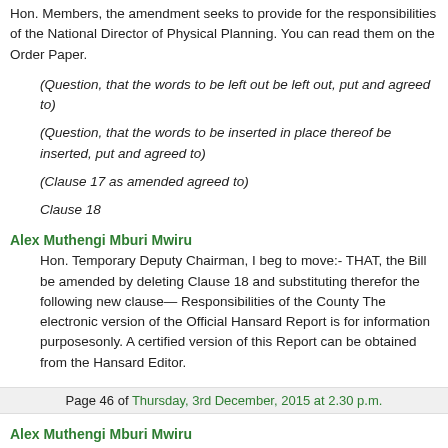Hon. Members, the amendment seeks to provide for the responsibilities of the National Director of Physical Planning. You can read them on the Order Paper.
(Question, that the words to be left out be left out, put and agreed to)
(Question, that the words to be inserted in place thereof be inserted, put and agreed to)
(Clause 17 as amended agreed to)
Clause 18
Alex Muthengi Mburi Mwiru
Hon. Temporary Deputy Chairman, I beg to move:- THAT, the Bill be amended by deleting Clause 18 and substituting therefor the following new clause— Responsibilities of the County The electronic version of the Official Hansard Report is for information purposesonly. A certified version of this Report can be obtained from the Hansard Editor.
Page 46 of Thursday, 3rd December, 2015 at 2.30 p.m.
Alex Muthengi Mburi Mwiru
Executive Committee member responsible for physical planning.